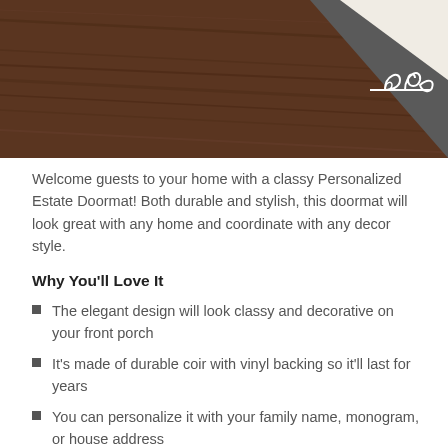[Figure (photo): Top portion of a personalized estate doormat showing dark brown wood-grain textured surface with a decorative white scrollwork/floral corner design on a dark gray background]
Welcome guests to your home with a classy Personalized Estate Doormat! Both durable and stylish, this doormat will look great with any home and coordinate with any decor style.
Why You'll Love It
The elegant design will look classy and decorative on your front porch
It's made of durable coir with vinyl backing so it'll last for years
You can personalize it with your family name, monogram, or house address